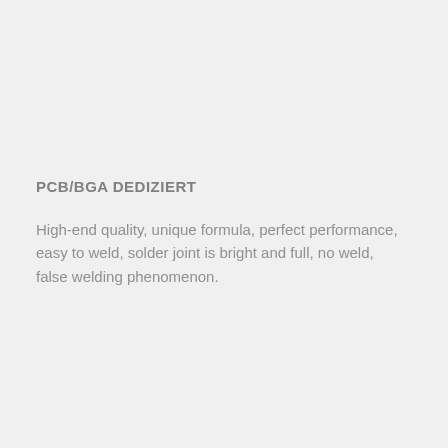PCB/BGA DEDIZIERT
High-end quality, unique formula, perfect performance, easy to weld, solder joint is bright and full, no weld, false welding phenomenon.